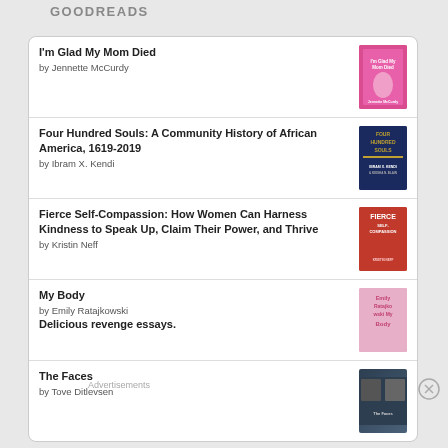GOODREADS
I'm Glad My Mom Died by Jennette McCurdy
Four Hundred Souls: A Community History of African America, 1619-2019 by Ibram X. Kendi
Fierce Self-Compassion: How Women Can Harness Kindness to Speak Up, Claim Their Power, and Thrive by Kristin Neff
My Body by Emily Ratajkowski
Delicious revenge essays.
The Faces by Tove Ditlevsen
Advertisements